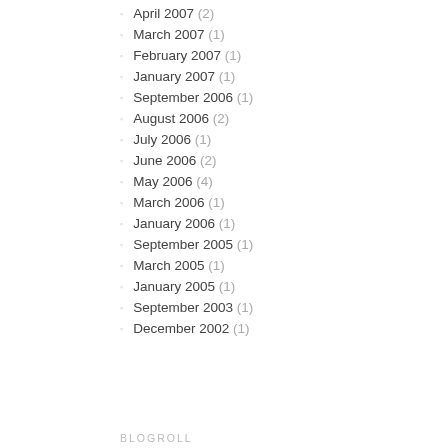April 2007 (2)
March 2007 (1)
February 2007 (1)
January 2007 (1)
September 2006 (1)
August 2006 (2)
July 2006 (1)
June 2006 (2)
May 2006 (4)
March 2006 (1)
January 2006 (1)
September 2005 (1)
March 2005 (1)
January 2005 (1)
September 2003 (1)
December 2002 (1)
BLOGROLL